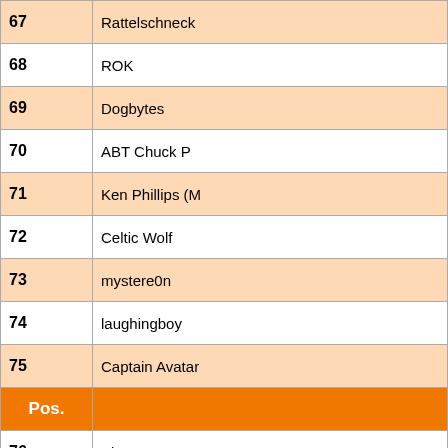| Pos. | Name |
| --- | --- |
| 67 | Rattelschneck |
| 68 | ROK |
| 69 | Dogbytes |
| 70 | ABT Chuck P |
| 71 | Ken Phillips (M |
| 72 | Celtic Wolf |
| 73 | mystere0n |
| 74 | laughingboy |
| 75 | Captain Avatar |
| Pos. |  |
| 76 | Alan Prepper |
| 77 | Iggy |
| 78 | dosboot |
| 79 | Jeff & Katie C. |
| 80 | Es99 |
| 81 | dahile00 |